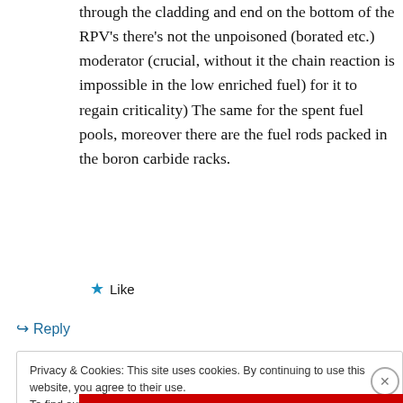through the cladding and end on the bottom of the RPV's there's not the unpoisoned (borated etc.) moderator (crucial, without it the chain reaction is impossible in the low enriched fuel) for it to regain criticality) The same for the spent fuel pools, moreover there are the fuel rods packed in the boron carbide racks.
★ Like
↪ Reply
Privacy & Cookies: This site uses cookies. By continuing to use this website, you agree to their use.
To find out more, including how to control cookies, see here: Cookie Policy
Close and accept